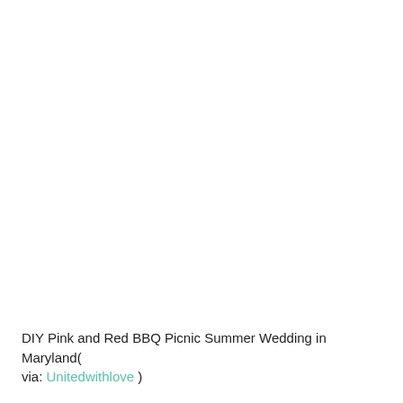DIY Pink and Red BBQ Picnic Summer Wedding in Maryland( via: Unitedwithlove )